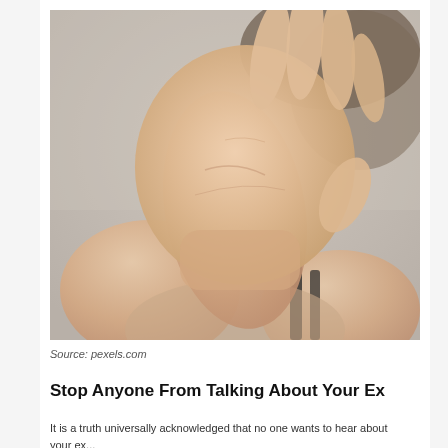[Figure (photo): A person holding their hand up toward the camera, palm facing forward in a stop gesture, obscuring their face. The background is a neutral grey. The person is wearing a black strap top.]
Source: pexels.com
Stop Anyone From Talking About Your Ex
Lorem ipsum style body text beginning...